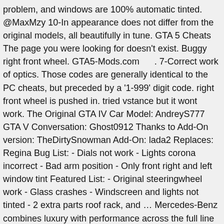problem, and windows are 100% automatic tinted. @MaxMzy 10-In appearance does not differ from the original models, all beautifully in tune. GTA 5 Cheats The page you were looking for doesn't exist. Buggy right front wheel. GTA5-Mods.com     . 7-Correct work of optics. Those codes are generally identical to the PC cheats, but preceded by a '1-999' digit code. right front wheel is pushed in. tried vstance but it wont work. The Original GTA IV Car Model: AndreyS777 GTA V Conversation: Ghost0912 Thanks to Add-On version: TheDirtySnowman Add-On: lada2 Replaces: Regina Bug List: - Dials not work - Lights corona incorrect - Bad arm position - Only front right and left window tint Featured List: - Original steeringwheel work - Glass crashes - Windscreen and lights not tinted - 2 extra parts roof rack, and … Mercedes-Benz combines luxury with performance across the full line of models including luxury sedans, SUVs, coupes, roadsters, convertibles & more. We're currently providing more than 80,000 modifications for the Grand Theft Auto series. Not a brabus 700 g63 IDEK Video Rating: / 5. Что